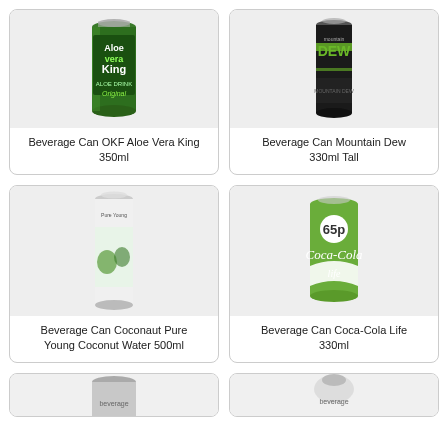[Figure (photo): Beverage Can OKF Aloe Vera King 350ml - green can with Aloe Vera King branding]
Beverage Can OKF Aloe Vera King 350ml
[Figure (photo): Beverage Can Mountain Dew 330ml Tall - black and green can]
Beverage Can Mountain Dew 330ml Tall
[Figure (photo): Beverage Can Coconaut Pure Young Coconut Water 500ml - white can with colorful design]
Beverage Can Coconaut Pure Young Coconut Water 500ml
[Figure (photo): Beverage Can Coca-Cola Life 330ml - green can with 65p price marking]
Beverage Can Coca-Cola Life 330ml
[Figure (photo): Partial view of two more beverage cans at bottom of page]
[Figure (photo): Partial view of beverage can at bottom right of page]